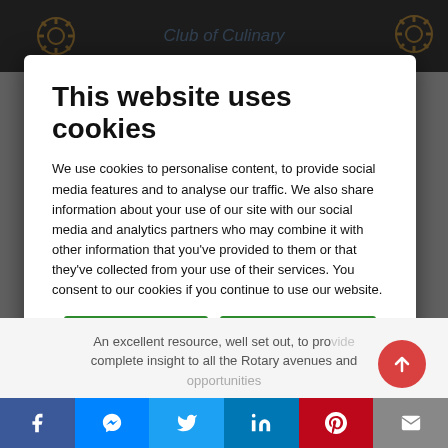[Figure (screenshot): Website cookie consent modal dialog over a Rotary Club of Culinary website. Modal contains title, explanatory text, two green buttons (Allow selection, Allow all cookies), and a cookie preferences table with checkboxes for Necessary, Preferences, Statistics, Marketing categories. Background shows partial website header with Rotary gear logo and social sharing bar at the bottom.]
This website uses cookies
We use cookies to personalise content, to provide social media features and to analyse our traffic. We also share information about your use of our site with our social media and analytics partners who may combine it with other information that you've provided to them or that they've collected from your use of their services. You consent to our cookies if you continue to use our website.
Allow selection
Allow all cookies
| Necessary | Preferences | Statistics | Show details |
| --- | --- | --- | --- |
| ✓ Necessary | ✓ Preferences | ✓ Statistics | Show details ∨ |
| ☐ Marketing |  |  |  |